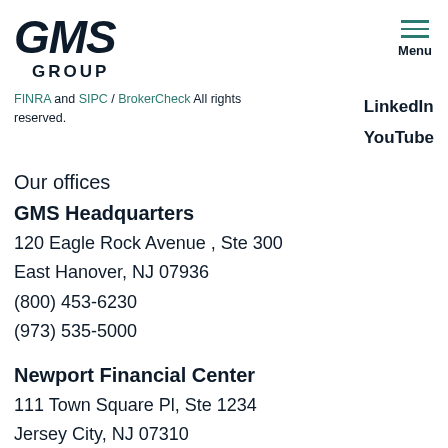[Figure (logo): GMS Group logo with bold italic GMS text and GROUP in spaced capitals below]
[Figure (other): Hamburger menu icon with three horizontal teal lines and Menu label below]
FINRA and SIPC / BrokerCheck All rights reserved.
LinkedIn
YouTube
Our offices
GMS Headquarters
120 Eagle Rock Avenue , Ste 300
East Hanover, NJ 07936
(800) 453-6230
(973) 535-5000
Newport Financial Center
111 Town Square Pl, Ste 1234
Jersey City, NJ 07310
(800) 453-6233